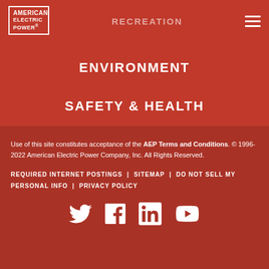[Figure (logo): American Electric Power logo in white with border]
RECREATION
ENVIRONMENT
SAFETY & HEALTH
Use of this site constitutes acceptance of the AEP Terms and Conditions. © 1996-2022 American Electric Power Company, Inc. All Rights Reserved.
REQUIRED INTERNET POSTINGS | SITEMAP | DO NOT SELL MY PERSONAL INFO | PRIVACY POLICY
[Figure (other): Social media icons: Twitter, Facebook, LinkedIn, YouTube]